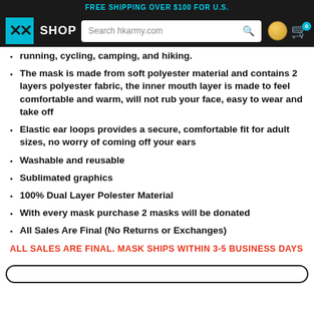FREE SHIPPING OVER $100 FOR U.S.
SHOP | Search hkarmy.com
running, cycling, camping, and hiking.
The mask is made from soft polyester material and contains 2 layers polyester fabric, the inner mouth layer is made to feel comfortable and warm, will not rub your face, easy to wear and take off
Elastic ear loops provides a secure, comfortable fit for adult sizes, no worry of coming off your ears
Washable and reusable
Sublimated graphics
100% Dual Layer Polester Material
With every mask purchase 2 masks will be donated
All Sales Are Final (No Returns or Exchanges)
ALL SALES ARE FINAL. MASK SHIPS WITHIN 3-5 BUSINESS DAYS